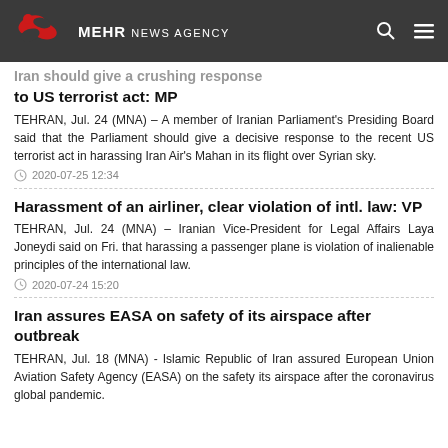MEHR NEWS AGENCY
Iran should give a crushing response to US terrorist act: MP
TEHRAN, Jul. 24 (MNA) – A member of Iranian Parliament's Presiding Board said that the Parliament should give a decisive response to the recent US terrorist act in harassing Iran Air's Mahan in its flight over Syrian sky.
2020-07-25 12:34
Harassment of an airliner, clear violation of intl. law: VP
TEHRAN, Jul. 24 (MNA) – Iranian Vice-President for Legal Affairs Laya Joneydi said on Fri. that harassing a passenger plane is violation of inalienable principles of the international law.
2020-07-24 15:20
Iran assures EASA on safety of its airspace after outbreak
TEHRAN, Jul. 18 (MNA) - Islamic Republic of Iran assured European Union Aviation Safety Agency (EASA) on the safety its airspace after the coronavirus global pandemic.